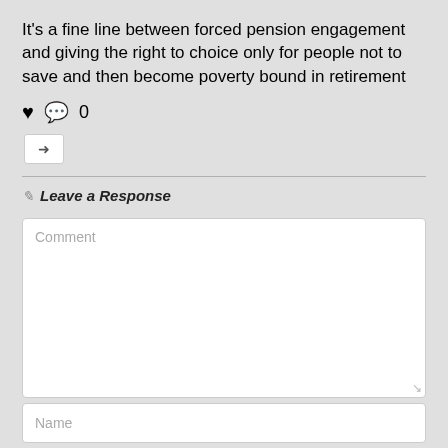It's a fine line between forced pension engagement and giving the right to choice only for people not to save and then become poverty bound in retirement
[Figure (other): Social interaction icons: heart (like), speech bubble with dots (comment) followed by count '0', and a share/reply button with arrow icon]
Leave a Response
Comment (placeholder text in comment textarea)
Name (placeholder text in name input field)